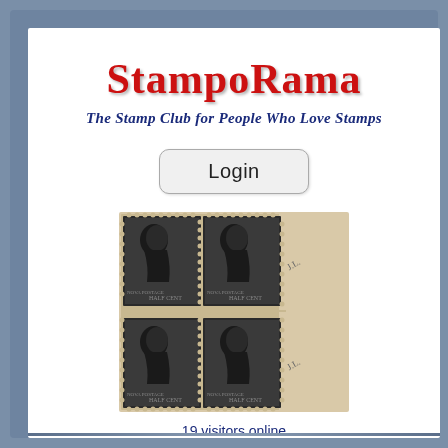StampoRama
The Stamp Club for People Who Love Stamps
Login
[Figure (photo): A block of four vintage postage stamps featuring Queen Victoria profile portrait in dark grey/black, with perforated edges. Two stamps on top row and two on bottom row, with a paper tab/margin on the right side containing handwritten notation.]
19 visitors online